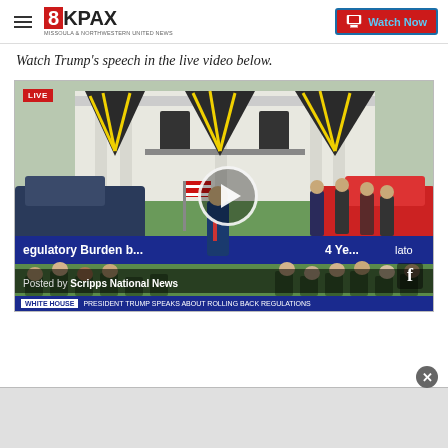8KPAX — Watch Now
Watch Trump's speech in the live video below.
[Figure (screenshot): Live video screenshot from Scripps National News on Facebook showing President Trump speaking at White House outdoor event about rolling back regulations. Lower ticker reads: WHITE HOUSE — PRESIDENT TRUMP SPEAKS ABOUT ROLLING BACK REGULATIONS]
Posted by Scripps National News